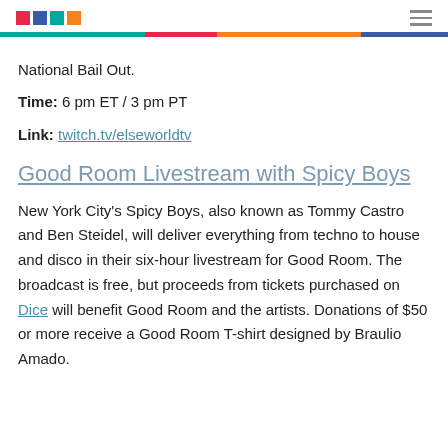[logo squares] [hamburger menu]
National Bail Out.
Time: 6 pm ET / 3 pm PT
Link: twitch.tv/elseworldtv
Good Room Livestream with Spicy Boys
New York City's Spicy Boys, also known as Tommy Castro and Ben Steidel, will deliver everything from techno to house and disco in their six-hour livestream for Good Room. The broadcast is free, but proceeds from tickets purchased on Dice will benefit Good Room and the artists. Donations of $50 or more receive a Good Room T-shirt designed by Braulio Amado.